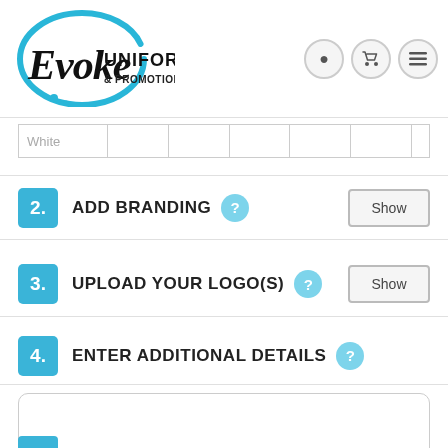[Figure (logo): Evoke Uniforms & Promotional logo with blue circle brush stroke and black script/bold text]
| White |  |  |  |  |  |
| --- | --- | --- | --- | --- | --- |
|  |
2. ADD BRANDING
3. UPLOAD YOUR LOGO(S)
4. ENTER ADDITIONAL DETAILS